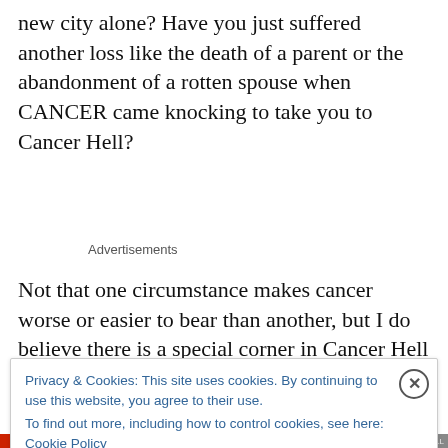new city alone? Have you just suffered another loss like the death of a parent or the abandonment of a rotten spouse when CANCER came knocking to take you to Cancer Hell?
Advertisements
Not that one circumstance makes cancer worse or easier to bear than another, but I do believe there is a special corner in Cancer Hell for the mothers who have young
Privacy & Cookies: This site uses cookies. By continuing to use this website, you agree to their use.
To find out more, including how to control cookies, see here: Cookie Policy